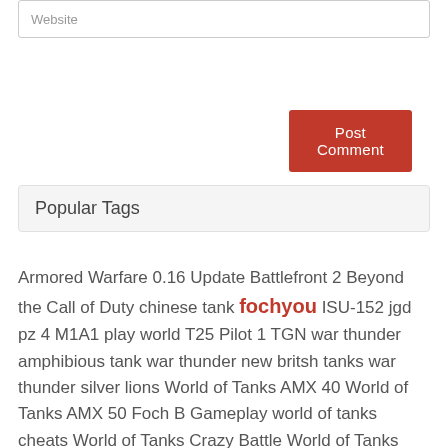Website
Post Comment
Popular Tags
Armored Warfare 0.16 Update Battlefront 2 Beyond the Call of Duty chinese tank fochyou ISU-152 jgd pz 4 M1A1 play world T25 Pilot 1 TGN war thunder amphibious tank war thunder new britsh tanks war thunder silver lions World of Tanks AMX 40 World of Tanks AMX 50 Foch B Gameplay world of tanks cheats World of Tanks Crazy Battle World of Tanks M46 Patton KR World of Tanks Object 260 Gameplay Review World of Tanks Premium Tank Giveaway World of Tanks T92 World of Tanks T92 Light Tank Gameplay WoT USA Tank Destroyer zombie